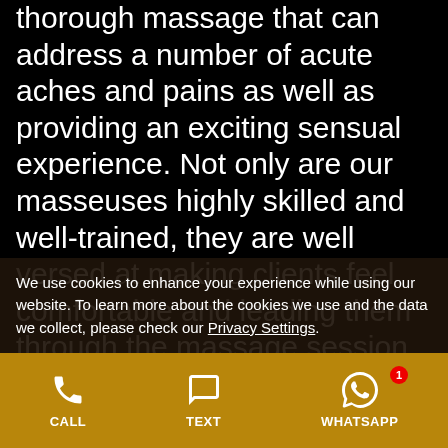thorough massage that can address a number of acute aches and pains as well as providing an exciting sensual experience. Not only are our masseuses highly skilled and well-trained, they are well versed at making clients feel comfortable and leading them through the massage session. As a client, all you need to do is lay
We use cookies to enhance your experience while using our website. To learn more about the cookies we use and the data we collect, please check our Privacy Settings.
CALL  TEXT  WHATSAPP